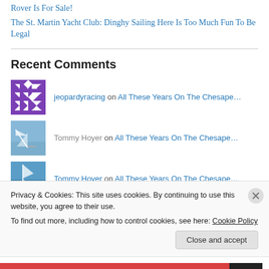Rover Is For Sale!
The St. Martin Yacht Club: Dinghy Sailing Here Is Too Much Fun To Be Legal
Recent Comments
jeopardyracing on All These Years On The Chesape…
Tommy Hoyer on All These Years On The Chesape…
Tommy Hoyer on All These Years On The Chesape…
Privacy & Cookies: This site uses cookies. By continuing to use this website, you agree to their use.
To find out more, including how to control cookies, see here: Cookie Policy
Close and accept